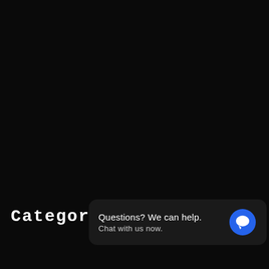Categories
Questions? We can help. Chat with us now.